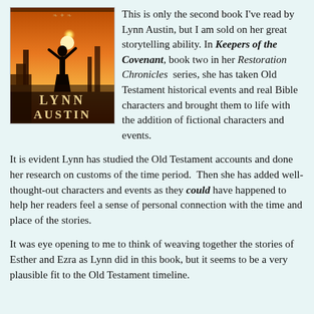[Figure (illustration): Book cover of 'Keepers of the Covenant' by Lynn Austin. Shows a silhouette of a person against an orange sunset sky with ancient structures, with the author name 'LYNN AUSTIN' prominently displayed.]
This is only the second book I've read by Lynn Austin, but I am sold on her great storytelling ability. In Keepers of the Covenant, book two in her Restoration Chronicles series, she has taken Old Testament historical events and real Bible characters and brought them to life with the addition of fictional characters and events.
It is evident Lynn has studied the Old Testament accounts and done her research on customs of the time period.  Then she has added well-thought-out characters and events as they could have happened to help her readers feel a sense of personal connection with the time and place of the stories.
It was eye opening to me to think of weaving together the stories of Esther and Ezra as Lynn did in this book, but it seems to be a very plausible fit to the Old Testament timeline.